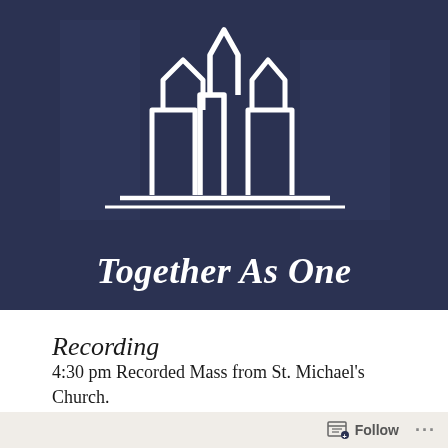[Figure (logo): Together As One logo — white outline of stylized building/arch shapes on dark navy blue background, with italic bold white text 'Together As One' below]
Recording
4:30 pm Recorded Mass from St. Michael's Church.
[Figure (screenshot): Video thumbnail strip showing church icon and partial text 'First Sunday of Advent']
Follow ···